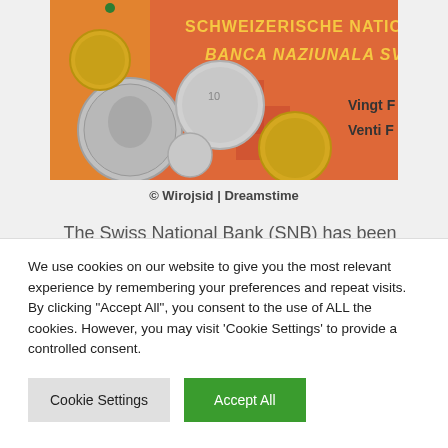[Figure (photo): Photo of Swiss francs — coins and banknotes with text 'SCHWEIZERISCHE NATIONALBANK BANCA NAZIUNALA SVIZRA' visible on an orange/red banknote, with silver and gold coins on top. Partial text 'Vingt F' and 'Venti F' visible on right side.]
© Wirojsid | Dreamstime
The Swiss National Bank (SNB) has been working hard to bring down the value of the
We use cookies on our website to give you the most relevant experience by remembering your preferences and repeat visits. By clicking "Accept All", you consent to the use of ALL the cookies. However, you may visit 'Cookie Settings' to provide a controlled consent.
Cookie Settings
Accept All